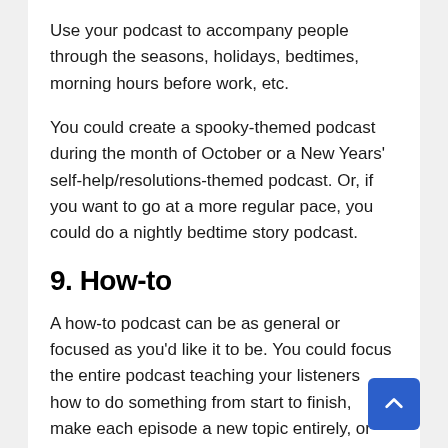Use your podcast to accompany people through the seasons, holidays, bedtimes, morning hours before work, etc.
You could create a spooky-themed podcast during the month of October or a New Years' self-help/resolutions-themed podcast. Or, if you want to go at a more regular pace, you could do a nightly bedtime story podcast.
9. How-to
A how-to podcast can be as general or focused as you'd like it to be. You could focus the entire podcast teaching your listeners how to do something from start to finish, make each episode a new topic entirely, or take a broader